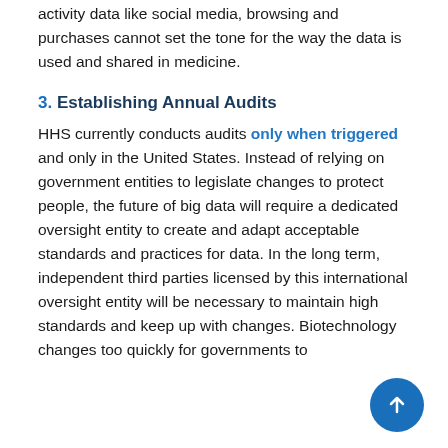activity data like social media, browsing and purchases cannot set the tone for the way the data is used and shared in medicine.
3. Establishing Annual Audits
HHS currently conducts audits only when triggered and only in the United States. Instead of relying on government entities to legislate changes to protect people, the future of big data will require a dedicated oversight entity to create and adapt acceptable standards and practices for data. In the long term, independent third parties licensed by this international oversight entity will be necessary to maintain high standards and keep up with changes. Biotechnology changes too quickly for governments to